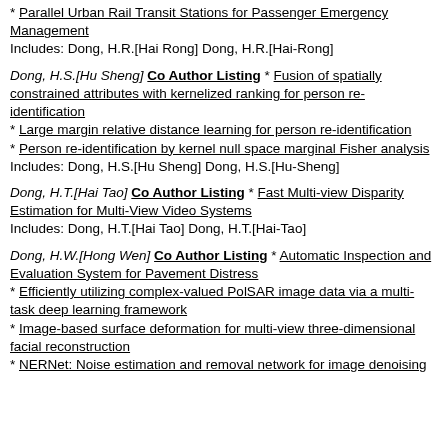* Parallel Urban Rail Transit Stations for Passenger Emergency Management
Includes: Dong, H.R.[Hai Rong] Dong, H.R.[Hai-Rong]
Dong, H.S.[Hu Sheng] Co Author Listing * Fusion of spatially constrained attributes with kernelized ranking for person re-identification
* Large margin relative distance learning for person re-identification
* Person re-identification by kernel null space marginal Fisher analysis
Includes: Dong, H.S.[Hu Sheng] Dong, H.S.[Hu-Sheng]
Dong, H.T.[Hai Tao] Co Author Listing * Fast Multi-view Disparity Estimation for Multi-View Video Systems
Includes: Dong, H.T.[Hai Tao] Dong, H.T.[Hai-Tao]
Dong, H.W.[Hong Wen] Co Author Listing * Automatic Inspection and Evaluation System for Pavement Distress
* Efficiently utilizing complex-valued PolSAR image data via a multi-task deep learning framework
* Image-based surface deformation for multi-view three-dimensional facial reconstruction
* NERNet: Noise estimation and removal network for image denoising